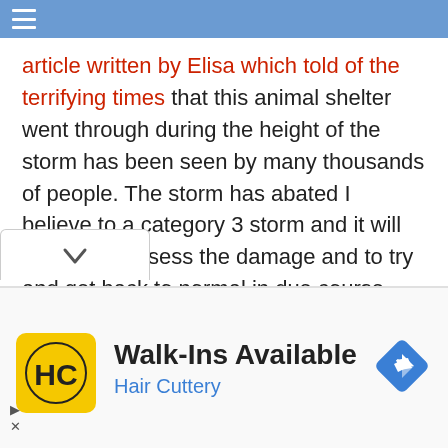☰
article written by Elisa which told of the terrifying times that this animal shelter went through during the height of the storm has been seen by many thousands of people. The storm has abated I believe to a category 3 storm and it will be time to assess the damage and to try and get back to normal in due course.
[Figure (other): Dropdown chevron UI element]
[Figure (other): Advertisement banner for Hair Cuttery - Walk-Ins Available]